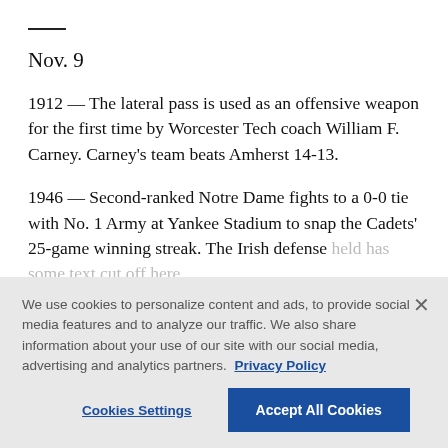Nov. 9
1912 — The lateral pass is used as an offensive weapon for the first time by Worcester Tech coach William F. Carney. Carney's team beats Amherst 14-13.
1946 — Second-ranked Notre Dame fights to a 0-0 tie with No. 1 Army at Yankee Stadium to snap the Cadets' 25-game winning streak. The Irish defense [continues below the fold]
We use cookies to personalize content and ads, to provide social media features and to analyze our traffic. We also share information about your use of our site with our social media, advertising and analytics partners.  Privacy Policy
Cookies Settings
Accept All Cookies